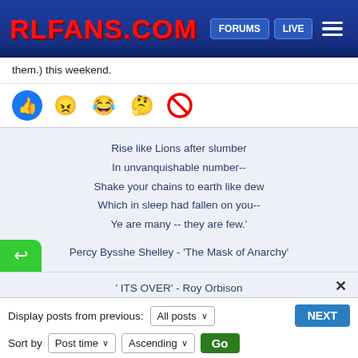RLFANS.COM | FORUMS | LIVE
them.) this weekend.
[Figure (infographic): Row of reaction icons: thumbs up (blue circle), angry face emoji, laughing emoji, kiss/thinking emoji, and a red no-symbol (circle with slash).]
Rise like Lions after slumber
In unvanquishable number--
Shake your chains to earth like dew
Which in sleep had fallen on you--
Ye are many -- they are few.'

Percy Bysshe Shelley - 'The Mask of Anarchy'
' ITS OVER' - Roy Orbison
Display posts from previous:  All posts  ∨
Sort by  Post time  ∨  Ascending  ∨  Go
NEXT